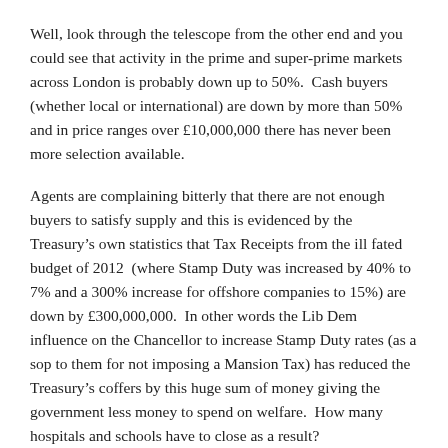Well, look through the telescope from the other end and you could see that activity in the prime and super-prime markets across London is probably down up to 50%.  Cash buyers (whether local or international) are down by more than 50% and in price ranges over £10,000,000 there has never been more selection available.
Agents are complaining bitterly that there are not enough buyers to satisfy supply and this is evidenced by the Treasury's own statistics that Tax Receipts from the ill fated budget of 2012  (where Stamp Duty was increased by 40% to 7% and a 300% increase for offshore companies to 15%) are down by £300,000,000.  In other words the Lib Dem influence on the Chancellor to increase Stamp Duty rates (as a sop to them for not imposing a Mansion Tax) has reduced the Treasury's coffers by this huge sum of money giving the government less money to spend on welfare.  How many hospitals and schools have to close as a result?